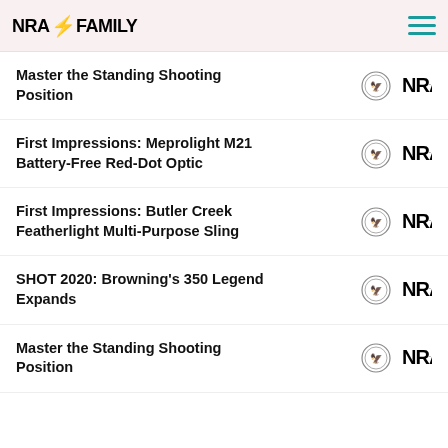NRA FAMILY
Master the Standing Shooting Position
First Impressions: Meprolight M21 Battery-Free Red-Dot Optic
First Impressions: Butler Creek Featherlight Multi-Purpose Sling
SHOT 2020: Browning's 350 Legend Expands
Master the Standing Shooting Position